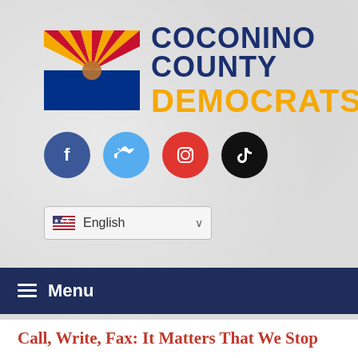[Figure (logo): Coconino County Democrats logo with Arizona state flag and organization name in dark blue and gold]
[Figure (infographic): Four social media icon buttons: Facebook (dark blue), Twitter (light blue), Instagram (red), TikTok (black)]
[Figure (other): Language selector dropdown showing US flag and 'English' with chevron]
Menu
Call, Write, Fax: It Matters That We Stop